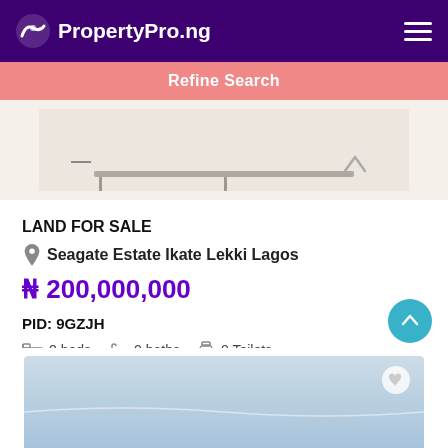PropertyPro.ng
Refine Search
[Figure (photo): Partial property listing image showing a furniture/shelf sketch on beige background]
LAND FOR SALE
Seagate Estate Ikate Lekki Lagos
₦ 200,000,000
PID: 9GZJH
0 beds   0 baths   0 Toilets
[Figure (photo): Partial property listing image showing blue-tinted water or sky background]